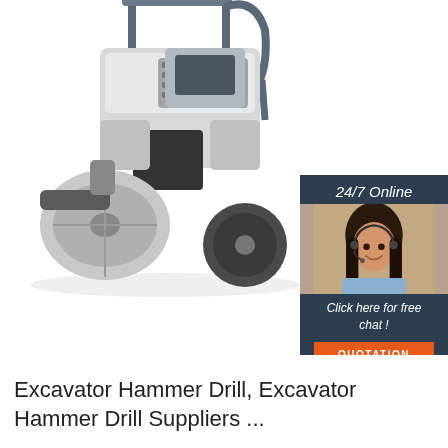[Figure (photo): A white road roller / compactor machine (construction equipment) shown from the side on a white background, with a canopy on top. Overlaid on the right side is a chat widget banner with '24/7 Online' text, a photo of a smiling woman with a headset, 'Click here for free chat!' text in italic, and an orange 'QUOTATION' button.]
Excavator Hammer Drill, Excavator Hammer Drill Suppliers ...